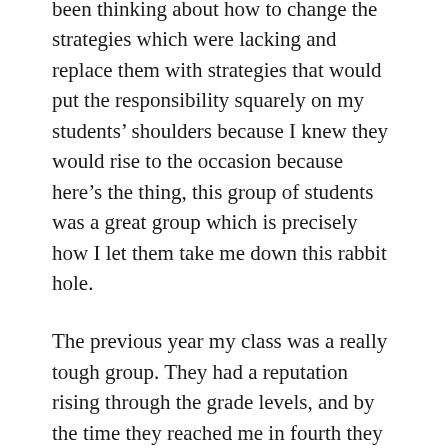been thinking about how to change the strategies which were lacking and replace them with strategies that would put the responsibility squarely on my students' shoulders because I knew they would rise to the occasion because here's the thing, this group of students was a great group which is precisely how I let them take me down this rabbit hole.
The previous year my class was a really tough group. They had a reputation rising through the grade levels, and by the time they reached me in fourth they knew how to get away with proverbial murder, but I didn't let them. Knowing their reputation I put measures in place to ensure we had a great year, and we did.
This new group was such a breath of fresh air and I